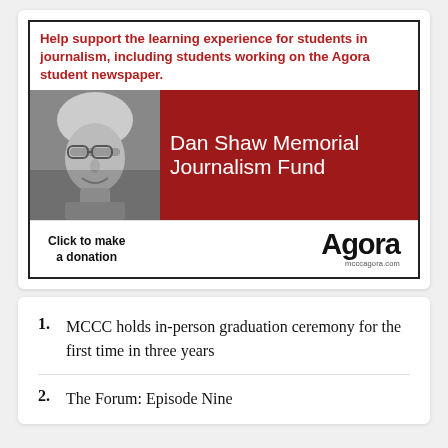[Figure (infographic): Dan Shaw Memorial Journalism Fund advertisement box. Red bold text at top: 'Help support the learning experience for students in journalism, including students working on the Agora student newspaper.' Below is a grayscale photo of an older man with glasses on the left, and a dark red background on the right with white text reading 'Dan Shaw Memorial Journalism Fund'. At the bottom: 'Click to make a donation' and the Agora logo with 'mcccagora.com'.]
MCCC holds in-person graduation ceremony for the first time in three years
The Forum: Episode Nine